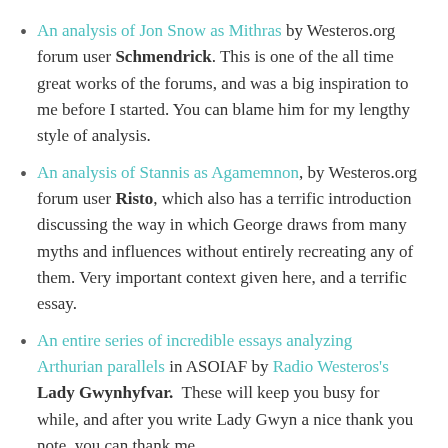An analysis of Jon Snow as Mithras by Westeros.org forum user Schmendrick. This is one of the all time great works of the forums, and was a big inspiration to me before I started. You can blame him for my lengthy style of analysis.
An analysis of Stannis as Agamemnon, by Westeros.org forum user Risto, which also has a terrific introduction discussing the way in which George draws from many myths and influences without entirely recreating any of them. Very important context given here, and a terrific essay.
An entire series of incredible essays analyzing Arthurian parallels in ASOIAF by Radio Westeros's Lady Gwynhyfvar. These will keep you busy for while, and after you write Lady Gwyn a nice thank you note, you can thank me